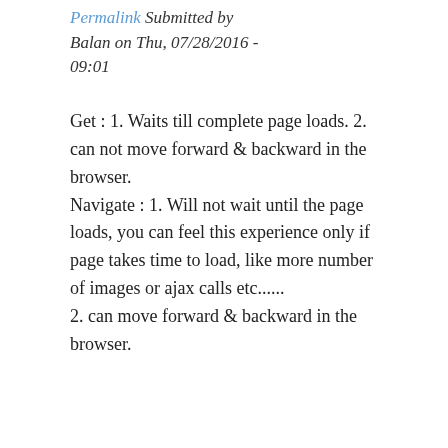Permalink Submitted by Balan on Thu, 07/28/2016 - 09:01
Get : 1. Waits till complete page loads. 2. can not move forward & backward in the browser.
Navigate : 1. Will not wait until the page loads, you can feel this experience only if page takes time to load, like more number of images or ajax calls etc......
2. can move forward & backward in the browser.